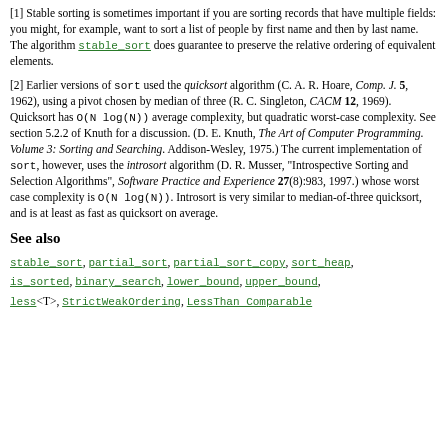[1] Stable sorting is sometimes important if you are sorting records that have multiple fields: you might, for example, want to sort a list of people by first name and then by last name. The algorithm stable_sort does guarantee to preserve the relative ordering of equivalent elements.
[2] Earlier versions of sort used the quicksort algorithm (C. A. R. Hoare, Comp. J. 5, 1962), using a pivot chosen by median of three (R. C. Singleton, CACM 12, 1969). Quicksort has O(N log(N)) average complexity, but quadratic worst-case complexity. See section 5.2.2 of Knuth for a discussion. (D. E. Knuth, The Art of Computer Programming. Volume 3: Sorting and Searching. Addison-Wesley, 1975.) The current implementation of sort, however, uses the introsort algorithm (D. R. Musser, "Introspective Sorting and Selection Algorithms", Software Practice and Experience 27(8):983, 1997.) whose worst case complexity is O(N log(N)). Introsort is very similar to median-of-three quicksort, and is at least as fast as quicksort on average.
See also
stable_sort, partial_sort, partial_sort_copy, sort_heap, is_sorted, binary_search, lower_bound, upper_bound, less<T>, StrictWeakOrdering, LessThan Comparable